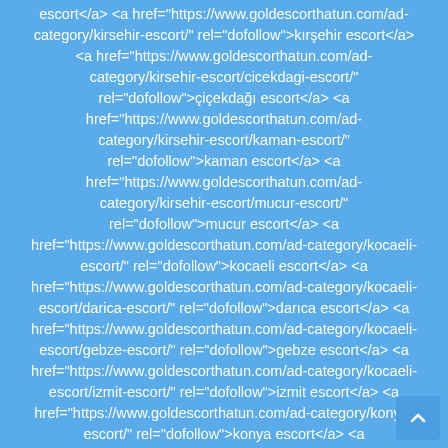escort</a> <a href="https://www.goldescorthatun.com/ad-category/kirsehir-escort/" rel="dofollow">kırşehir escort</a> <a href="https://www.goldescorthatun.com/ad-category/kirsehir-escort/cicekdagi-escort/" rel="dofollow">çiçekdağı escort</a> <a href="https://www.goldescorthatun.com/ad-category/kirsehir-escort/kaman-escort/" rel="dofollow">kaman escort</a> <a href="https://www.goldescorthatun.com/ad-category/kirsehir-escort/mucur-escort/" rel="dofollow">mucur escort</a> <a href="https://www.goldescorthatun.com/ad-category/kocaeli-escort/" rel="dofollow">kocaeli escort</a> <a href="https://www.goldescorthatun.com/ad-category/kocaeli-escort/darica-escort/" rel="dofollow">darıca escort</a> <a href="https://www.goldescorthatun.com/ad-category/kocaeli-escort/gebze-escort/" rel="dofollow">gebze escort</a> <a href="https://www.goldescorthatun.com/ad-category/kocaeli-escort/izmit-escort/" rel="dofollow">izmit escort</a> <a href="https://www.goldescorthatun.com/ad-category/konya-escort/" rel="dofollow">konya escort</a> <a href="https://www.goldescorthatun.com/ad-category/konya-escort/karatay-escort/" rel="dofollow">karatay escorts</a> </div>